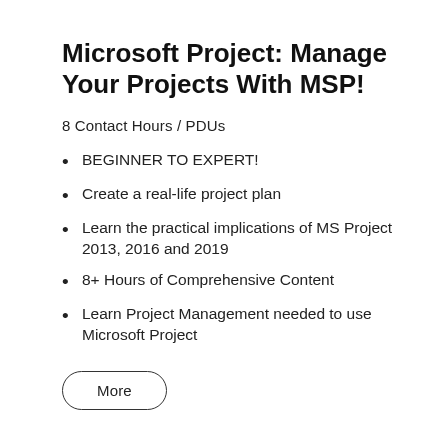Microsoft Project: Manage Your Projects With MSP!
8 Contact Hours / PDUs
BEGINNER TO EXPERT!
Create a real-life project plan
Learn the practical implications of MS Project 2013, 2016 and 2019
8+ Hours of Comprehensive Content
Learn Project Management needed to use Microsoft Project
More